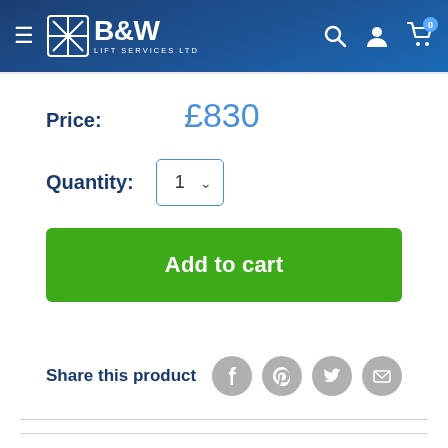B&W Lift Services Ltd
Price: £830
Quantity: 1
Add to cart
Share this product